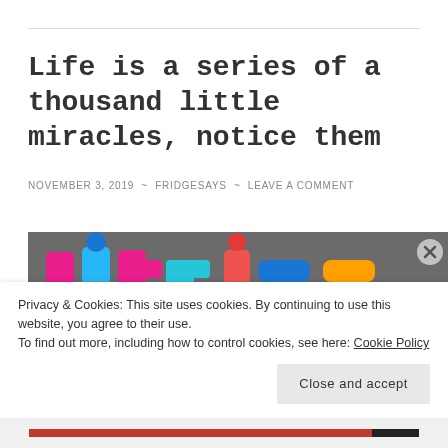Life is a series of a thousand little miracles, notice them
NOVEMBER 3, 2019 ~ FRIDGESAYS ~ LEAVE A COMMENT
[Figure (photo): Colorful magnetic fridge letters spelling 'life is' on a dark background. Letters are pink, blue, orange, and cyan.]
Privacy & Cookies: This site uses cookies. By continuing to use this website, you agree to their use.
To find out more, including how to control cookies, see here: Cookie Policy
Close and accept